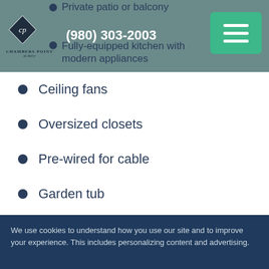Chambers Point at Avery | (980) 303-2003
Private patio or balcony
Fully-equipped kitchen with modern appliances
Ceiling fans
Oversized closets
Pre-wired for cable
Garden tub
We use cookies to understand how you use our site and to improve your experience. This includes personalizing content and advertising.